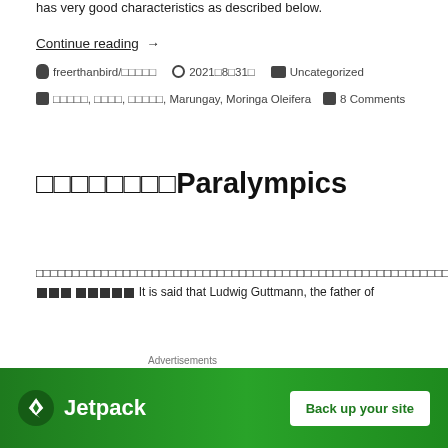has very good characteristics as described below.
Continue reading →
freerthanbird/□□□□□   2021□8□31□   Uncategorized
□□□□□, □□□□, □□□□□, Marungay, Moringa Oleifera   8 Comments
□□□□□□□□Paralympics
□□□□□□□□□□□□□□□□□□□□□□□□□□□□□□□□□□□□□□□□□□□□□□□□□□□□□□□□□□□□□□□□□□□□□□□□□□□□□□□□□□□□□□□□□□□□□□□□□□□□□□□□□□□□□□□□□□□□□□□□□□□□□□□□□□□□□□□□□□□□□□□□□□□□□□□□□□□□□□□□□□□□□□□□□□□□□□□□□□□□□□□□□□□□□□□□□□□□ It is said that Ludwig Guttmann, the father of
[Figure (infographic): Jetpack advertisement banner: green background with Jetpack logo and 'Back up your site' button]